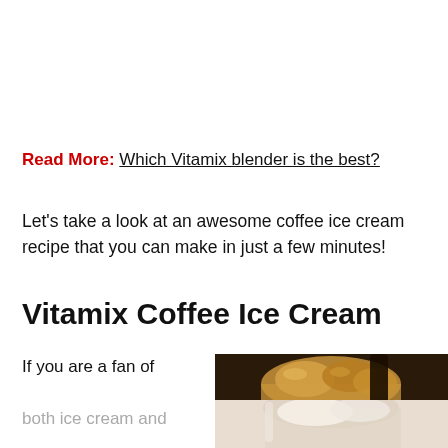Read More: Which Vitamix blender is the best?
Let's take a look at an awesome coffee ice cream recipe that you can make in just a few minutes!
Vitamix Coffee Ice Cream
If you are a fan of both ice cream and
[Figure (photo): Close-up photo of coffee ice cream in a glass, showing golden-brown scoops with a dark background on top and light cream below.]